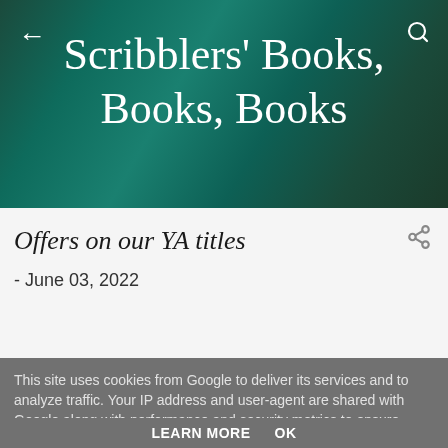Scribblers' Books, Books, Books
Offers on our YA titles
- June 03, 2022
This site uses cookies from Google to deliver its services and to analyze traffic. Your IP address and user-agent are shared with Google along with performance and security metrics to ensure quality of service, generate usage statistics, and to detect and address abuse.
LEARN MORE   OK